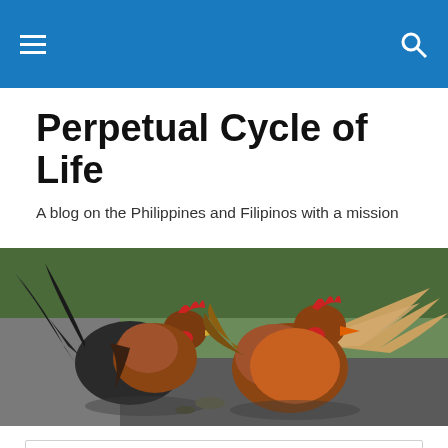Navigation bar with hamburger menu and search icon
Perpetual Cycle of Life
A blog on the Philippines and Filipinos with a mission
[Figure (photo): Two roosters/fighting cocks facing each other, one with wings spread, photographed outdoors with green and grey background]
Privacy & Cookies: This site uses cookies. By continuing to use this website, you agree to their use.
To find out more, including how to control cookies, see here: Cookie Policy
Close and accept